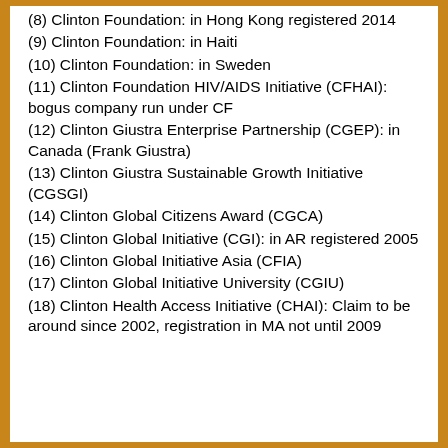(8) Clinton Foundation: in Hong Kong registered 2014
(9) Clinton Foundation: in Haiti
(10) Clinton Foundation: in Sweden
(11) Clinton Foundation HIV/AIDS Initiative (CFHAI): bogus company run under CF
(12) Clinton Giustra Enterprise Partnership (CGEP): in Canada (Frank Giustra)
(13) Clinton Giustra Sustainable Growth Initiative (CGSGI)
(14) Clinton Global Citizens Award (CGCA)
(15) Clinton Global Initiative (CGI): in AR registered 2005
(16) Clinton Global Initiative Asia (CFIA)
(17) Clinton Global Initiative University (CGIU)
(18) Clinton Health Access Initiative (CHAI): Claim to be around since 2002, registration in MA not until 2009